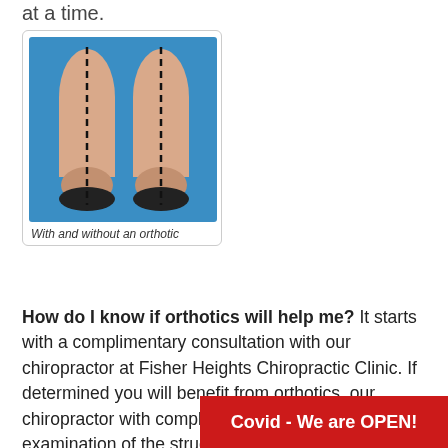at a time.
[Figure (photo): Photo of two human legs from behind (feet and lower calves visible against a blue background), each with a dashed black vertical line drawn along the center of the heel and calf, illustrating alignment with and without an orthotic.]
With and without an orthotic
How do I know if orthotics will help me? It starts with a complimentary consultation with our chiropractor at Fisher Heights Chiropractic Clinic. If determined you will benefit from orthotics, our chiropractor with complete a biomechanical examination of the structure and motion of your legs and feet, and a gait analysis to evaluate your walking. 2. A non-weightbearing molde taken in subtalar joint neura
Covid - We are OPEN!